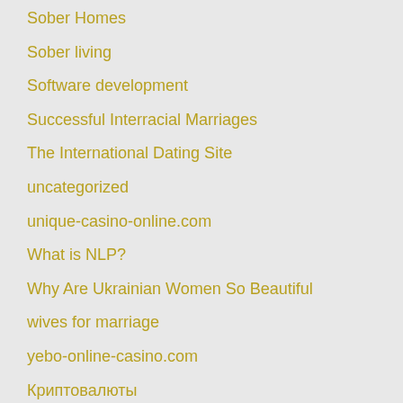Sober Homes
Sober living
Software development
Successful Interracial Marriages
The International Dating Site
uncategorized
unique-casino-online.com
What is NLP?
Why Are Ukrainian Women So Beautiful
wives for marriage
yebo-online-casino.com
Криптовалюты
Мода
Путешествия
Финтех